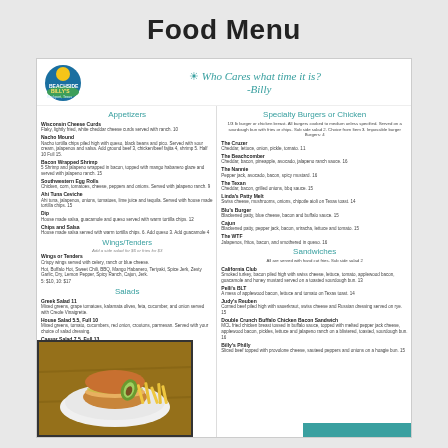Food Menu
[Figure (logo): Beachside Billy's restaurant logo with beach/sunset graphic]
Who Cares what time it is? -Billy
Appetizers
Wisconsin Cheese Curds - Flaky, lightly fried, white cheddar cheese curds served with ranch. 10
Nacho Mound - Nacho tortilla chips piled high with queso, black beans and pico. Served with sour cream, jalapenos and salsa. Add ground beef 3, chicken/beef fajita 4, shrimp 5. Half 10 Full 15.
Bacon Wrapped Shrimp - 5 Shrimp and jalapeno wrapped in bacon, topped with mango habanero glaze and served with jalapeno ranch. 15
Southwestern Egg Rolls - Chicken, corn, tomatoes, cheese, peppers and onions. Served with jalapeno ranch. 9
Ahi Tuna Ceviche - Ahi tuna, jalapenos, onions, tomatoes, lime juice and tequila. Served with house made tortilla chips. 15
Dip - House made salsa, guacamole and queso served with warm tortilla chips. 12
Chips and Salsa - House made salsa served with warm tortilla chips. 6. Add queso 3. Add guacamole 4.
Wings/Tenders
Wings or Tenders - Crispy wings served with celery, ranch or blue cheese. Hot, Buffalo Hot, Sweet Chili, BBQ, Mango Habanero, Teriyaki, Spice Jerk, Zesty Garlic, Dry, Lemon Pepper, Spicy Ranch, Cajun, Jerk. 5: $10, 10: $17
Salads
Greek Salad 11 - Mixed greens, grape tomatoes, kalamata olives, feta, cucumber, and onion served with Creole Vinaigrette.
House Salad 5.5, Full 10 - Mixed greens, tomato, cucumbers, red onion, croutons, parmesan. Served with your choice of salad dressing.
Caesar Salad - 7.5, Full 13
Specialty Burgers or Chicken
1/3 lb burger or chicken breast. All burgers cooked to medium unless specified. Served on a sourdough bun with fries or chips. Sub side salad 2. Choice from Item 3. Impossible burger Burgers: 4
The Cruzer - Cheddar, lettuce, onion, pickle, tomato. 11
The Beachcomber - Cheddar, bacon, pineapple, avocado, jalapeno ranch sauce. 16
The Nannie - Pepper jack, avocado, bacon, spicy mustard. 16
The Texan - Cheddar, bacon, grilled onions, bbq sauce. 15
Linda's Patty Melt - Swiss cheese, mushrooms, onions, chipotle aioli on Texas toast. 14
Blu's Burger - Blackened patty, blue cheese, bacon and buffalo sauce. 15
Cajun - Blackened patty, pepper jack, bacon, sriracha, lettuce and tomato. 15
The WTF - Jalapenos, fritos, bacon, and smothered in queso. 16
Sandwiches
All are served with hand cut fries. Sub side salad 2
California Club - Smoked turkey, bacon piled high with swiss cheese, lettuce, tomato, applewood bacon, guacamole and honey mustard served on a toasted sourdough bun. 13
Pelli's BLT - A mess of applewood bacon, lettuce and tomato on Texas toast. 14
Judy's Reuben - Corned beef piled high with sauerkraut, swiss cheese and Russian dressing served on rye. 15
Double Crunch Buffalo Chicken Bacon Sandwich - MCL fried chicken breast tossed in buffalo sauce, topped with melted pepper jack cheese, applewood bacon, pickles, lettuce and jalapeno ranch on a blistered, toasted, sourdough bun. 16
Billy's Philly - Sliced beef topped with provolone cheese, sauteed peppers and onions on a hoagie bun. 15
[Figure (photo): Photo of a gourmet sandwich/burger with shoestring fries on a white plate]